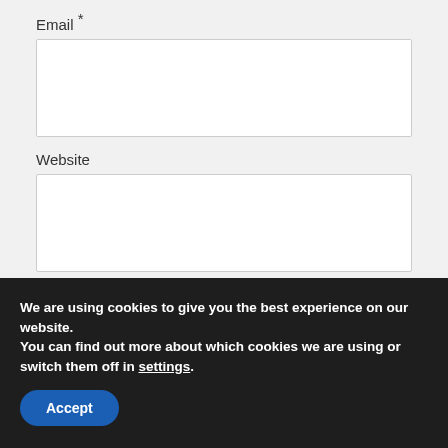Email *
Website
Comment *
We are using cookies to give you the best experience on our website.
You can find out more about which cookies we are using or switch them off in settings.
Accept